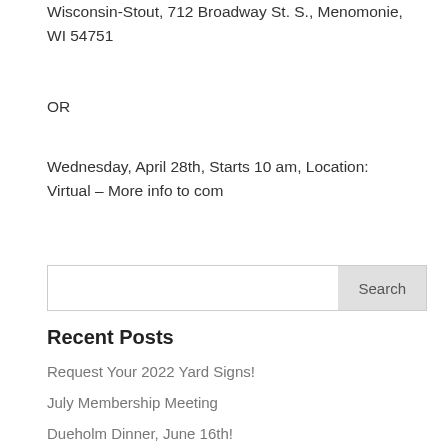Wisconsin-Stout, 712 Broadway St. S., Menomonie, WI 54751
OR
Wednesday, April 28th, Starts 10 am, Location: Virtual – More info to com
Search
Recent Posts
Request Your 2022 Yard Signs!
July Membership Meeting
Dueholm Dinner, June 16th!
March Membership Meeting